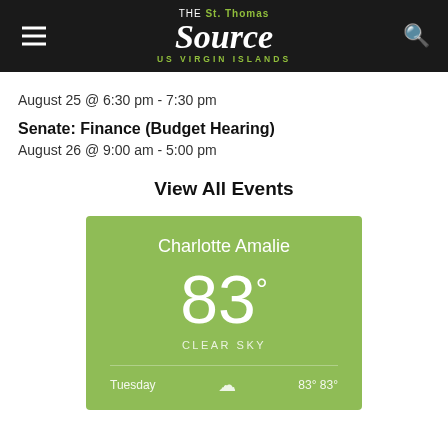The St. Thomas Source — US Virgin Islands
August 25 @ 6:30 pm - 7:30 pm
Senate: Finance (Budget Hearing)
August 26 @ 9:00 am - 5:00 pm
View All Events
[Figure (infographic): Weather widget showing Charlotte Amalie, 83°, Clear Sky, Tuesday forecast with temperature range 83° 83°]